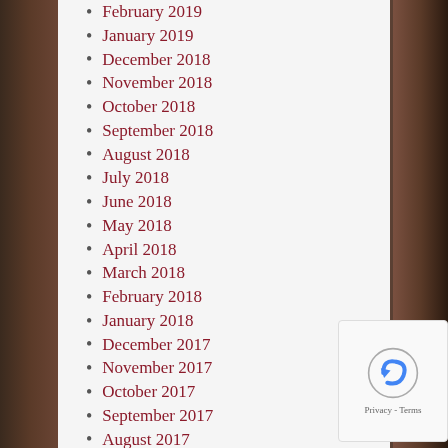February 2019
January 2019
December 2018
November 2018
October 2018
September 2018
August 2018
July 2018
June 2018
May 2018
April 2018
March 2018
February 2018
January 2018
December 2017
November 2017
October 2017
September 2017
August 2017
July 2017
June 2017
May 2017